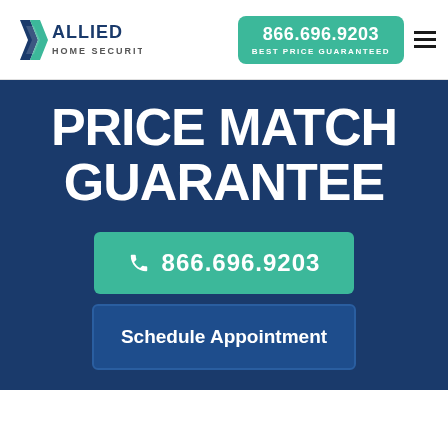Allied Home Security | 866.696.9203 | BEST PRICE GUARANTEED
PRICE MATCH GUARANTEE
866.696.9203
Schedule Appointment